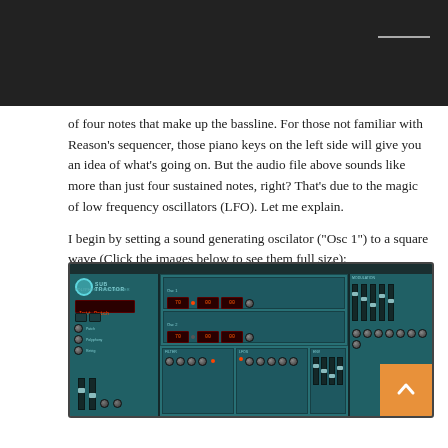of four notes that make up the bassline. For those not familiar with Reason’s sequencer, those piano keys on the left side will give you an idea of what’s going on. But the audio file above sounds like more than just four sustained notes, right? That’s due to the magic of low frequency oscillators (LFO). Let me explain.

I begin by setting a sound generating oscilator (“Osc 1”) to a square wave (Click the images below to see them full size):
[Figure (screenshot): Screenshot of the Subtractor polyphonic synthesizer plugin interface from Reason DAW, showing oscillator, filter, envelope, LFO and other synthesis controls with a teal/dark color scheme and red LED displays.]